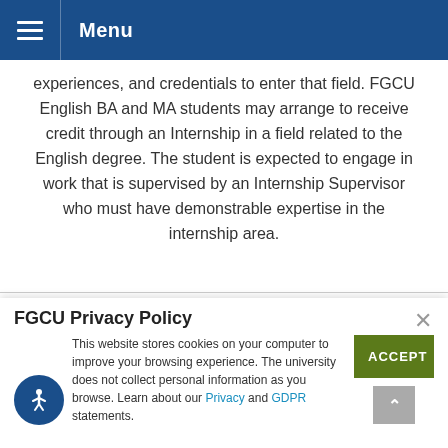Menu
experiences, and credentials to enter that field. FGCU English BA and MA students may arrange to receive credit through an Internship in a field related to the English degree. The student is expected to engage in work that is supervised by an Internship Supervisor who must have demonstrable expertise in the internship area.
FGCU Privacy Policy
This website stores cookies on your computer to improve your browsing experience. The university does not collect personal information as you browse. Learn about our Privacy and GDPR statements.